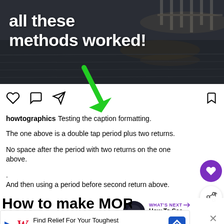[Figure (screenshot): Instagram post screenshot showing an image at the top with bold white text 'all these methods worked!' overlaid on a dark water/pier background. Below the image are Instagram action icons (heart, comment, share, bookmark), followed by caption text from user 'howtographics' about caption formatting. A green arrow points downward from the image. On the right side are a purple heart reaction button and a share button. A 'What's Next' panel shows 'How To See Who...' Below that is a partial heading 'How to make MORE line' and at the bottom is a Walgreens advertisement banner.]